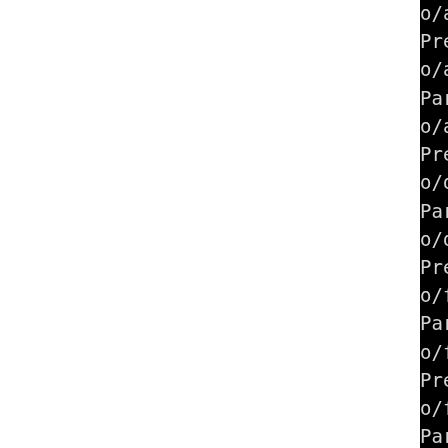o/argv.c...
Preprocessing /tmp/B.b67e2o/argv.h...
Parsing file /tmp/B.b67e21o/argv.h...
Preprocessing /tmp/B.b67e2o/digest.c...
Parsing file /tmp/B.b67e21o/digest.c...
Preprocessing /tmp/B.b67e2o/fts.c...
Parsing file /tmp/B.b67e21o/fts.c...
Preprocessing /tmp/B.b67e2o/fts.h...
Parsing file /tmp/B.b67e21o/fts.h...
Preprocessing /tmp/B.b67e2o/getpass.c...
Parsing file /tmp/B.b67e21o/getpass.c...
Preprocessing /tmp/B.b67e2o/lookup3.c...
Parsing file /tmp/B.b67e21